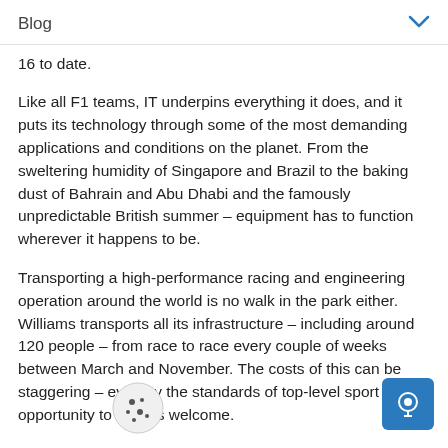Blog
16 to date.
Like all F1 teams, IT underpins everything it does, and it puts its technology through some of the most demanding applications and conditions on the planet. From the sweltering humidity of Singapore and Brazil to the baking dust of Bahrain and Abu Dhabi and the famously unpredictable British summer – equipment has to function wherever it happens to be.
Transporting a high-performance racing and engineering operation around the world is no walk in the park either. Williams transports all its infrastructure – including around 120 people – from race to race every couple of weeks between March and November. The costs of this can be staggering – even by the standards of top-level sport – any opportunity to save is welcome.